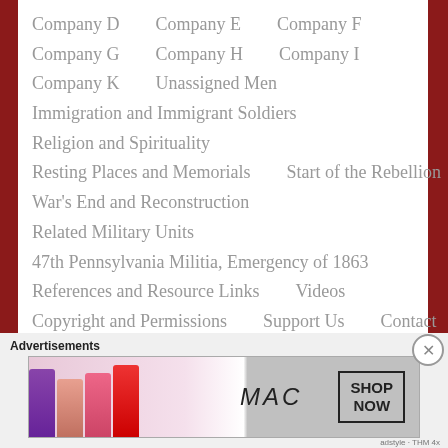Company D   Company E   Company F
Company G   Company H   Company I
Company K   Unassigned Men
Immigration and Immigrant Soldiers
Religion and Spirituality
Resting Places and Memorials   Start of the Rebellion
War's End and Reconstruction
Related Military Units
47th Pennsylvania Militia, Emergency of 1863
References and Resource Links   Videos
Copyright and Permissions   Support Us   Contact
Advertisements
[Figure (photo): MAC cosmetics advertisement showing lipsticks in purple, peach, pink and red with MAC logo and SHOP NOW button]